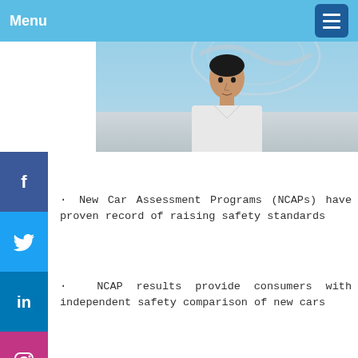Menu
[Figure (photo): A man standing in front of a car manufacturer logo (Hyundai-like chrome emblem), looking at the camera. Blue-tinted background.]
New Car Assessment Programs (NCAPs) have proven record of raising safety standards
NCAP results provide consumers with independent safety comparison of new cars
Many buyers refer to Euro or United States results, which may not apply locally